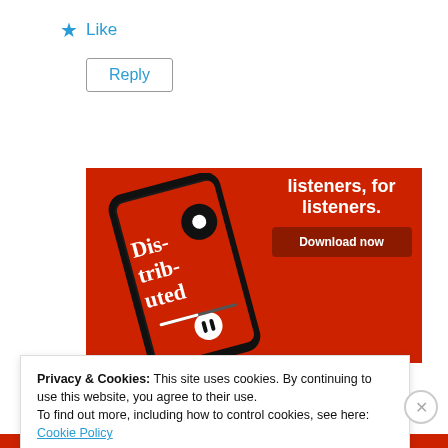★ Like
Reply
[Figure (screenshot): Advertisement banner with red background showing a smartphone with a podcast app open displaying 'Dis-tri-bu-ted' text. Right side shows white text: 'listeners, for listeners.' with a dark red 'Download now' button.]
Privacy & Cookies: This site uses cookies. By continuing to use this website, you agree to their use.
To find out more, including how to control cookies, see here: Cookie Policy
Close and accept